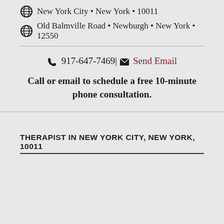New York City • New York • 10011
Old Balmville Road • Newburgh • New York • 12550
917-647-7469| Send Email
Call or email to schedule a free 10-minute phone consultation.
THERAPIST IN NEW YORK CITY, NEW YORK, 10011